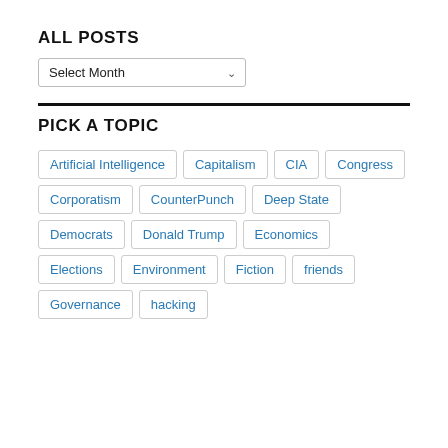ALL POSTS
Select Month
PICK A TOPIC
Artificial Intelligence
Capitalism
CIA
Congress
Corporatism
CounterPunch
Deep State
Democrats
Donald Trump
Economics
Elections
Environment
Fiction
friends
Governance
hacking